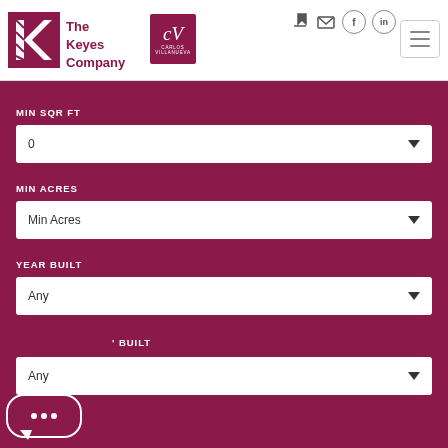[Figure (logo): The Keyes Company logo with a stylized K in dark red/maroon and company name text]
[Figure (logo): CV Carlos Villanueva logo - white script letters on maroon square background]
MIN SQR FT
0
MIN ACRES
Min Acres
YEAR BUILT
Any
' BUILT
Any